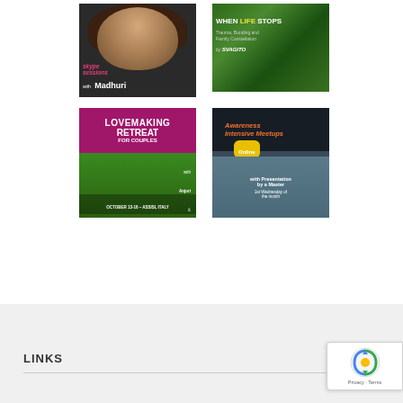[Figure (photo): Skype sessions with Madhuri – promotional banner showing a woman's face with text overlay]
[Figure (photo): When Life Stops – Trauma, Bonding and Family Constellation by Svagito – book/workshop promotional image with green leaf background]
[Figure (photo): Lovemaking Retreat for Couples with Anjori and Dhairya – October 13-16 Assisi Italy – promotional banner with couple photo]
[Figure (photo): Awareness Intensive Meetups Online with Presentation by a Master – 1st Wednesday of the month – promotional banner]
LINKS